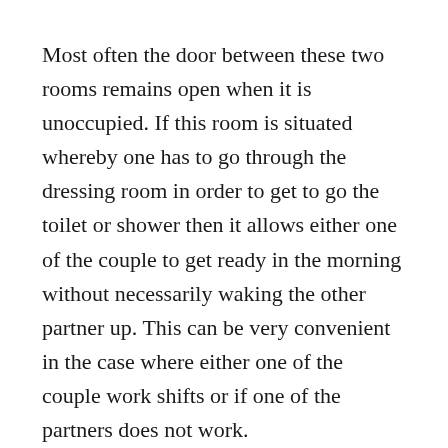Most often the door between these two rooms remains open when it is unoccupied. If this room is situated whereby one has to go through the dressing room in order to get to go the toilet or shower then it allows either one of the couple to get ready in the morning without necessarily waking the other partner up. This can be very convenient in the case where either one of the couple work shifts or if one of the partners does not work.
Today above counter basins are very popular. Styled in this way it gives much elegance to the room. Basins or sinks like this work very well for most themes and this includes eclectic.